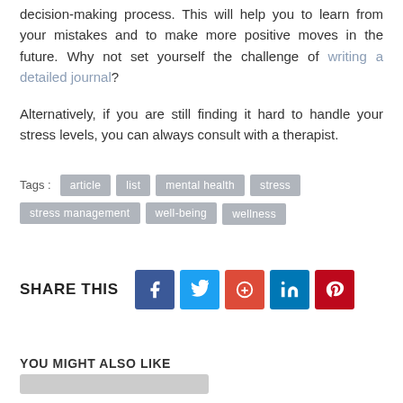decision-making process. This will help you to learn from your mistakes and to make more positive moves in the future. Why not set yourself the challenge of writing a detailed journal?
Alternatively, if you are still finding it hard to handle your stress levels, you can always consult with a therapist.
Tags : article list mental health stress stress management well-being wellness
[Figure (infographic): SHARE THIS with social media icons: Facebook (blue), Twitter (light blue), Google+ (orange-red), LinkedIn (dark blue), Pinterest (red)]
YOU MIGHT ALSO LIKE